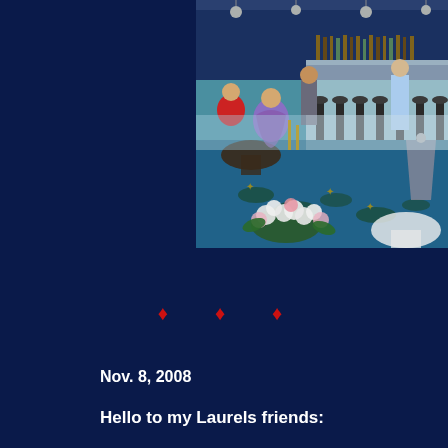[Figure (photo): Vintage color photograph of a cocktail lounge or bar scene, showing people socializing at tables and bar stools, with blue patterned carpet, a long bar with bottles in the background, hanging pendant lights, and flower arrangements in the foreground.]
♦ ♦ ♦
Nov. 8, 2008
Hello to my Laurels friends: